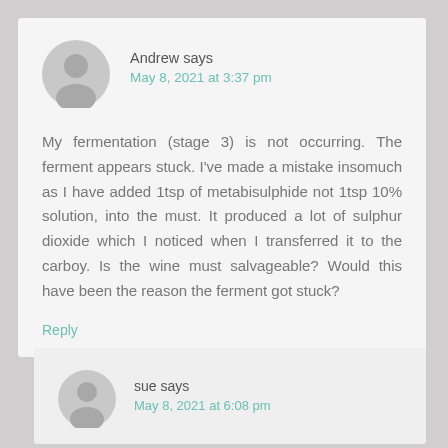Andrew says
May 8, 2021 at 3:37 pm
My fermentation (stage 3) is not occurring. The ferment appears stuck. I've made a mistake insomuch as I have added 1tsp of metabisulphide not 1tsp 10% solution, into the must. It produced a lot of sulphur dioxide which I noticed when I transferred it to the carboy. Is the wine must salvageable? Would this have been the reason the ferment got stuck?
Reply
sue says
May 8, 2021 at 6:08 pm